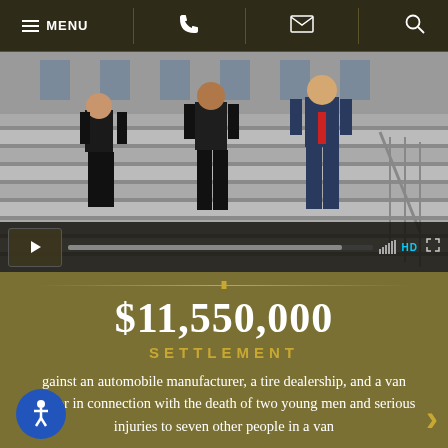MENU
[Figure (photo): Three men in business suits walking down courthouse steps]
$11,550,000
SETTLEMENT
against an automobile manufacturer, a tire dealership, and a van owner in connection with the death of two young men and serious injuries to seven other people in a van